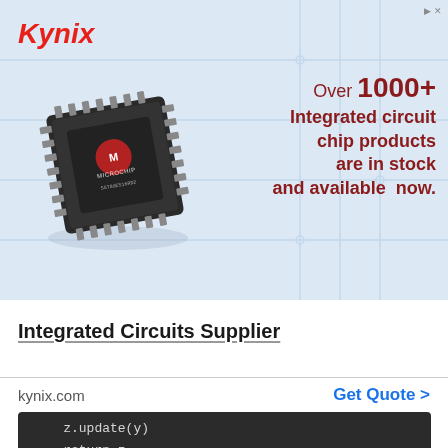[Figure (advertisement): Kynix advertisement banner with light blue background showing a Microchip brand integrated circuit chip (SST89E516RD2), with text 'Over 1000+ Integrated circuit chip products are in stock and available now.' in dark red on right side. Kynix logo in red italic at top left.]
Integrated Circuits Supplier
kynix.com
Get Quote ›
z.update(y)
return z
and then you have a single expression: